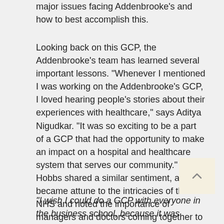major issues facing Addenbrooke's and how to best accomplish this.
Looking back on this GCP, the Addenbrooke's team has learned several important lessons. "Whenever I mentioned I was working on the Addenbrooke's GCP, I loved hearing people's stories about their experiences with healthcare," says Aditya Nigudkar. "It was so exciting to be a part of a GCP that had the opportunity to make an impact on a hospital and healthcare system that serves our community." Kit Hobbs shared a similar sentiment, and became attune to the intricacies of the NHS and noted the importance of managers and doctors coming together to solve major issues. Kit relished the chance to work in a community he feels strongly connected to as a Cambridge undergraduate alumnus.
“I wish I could do a GCP with everyone in the business school, because it was